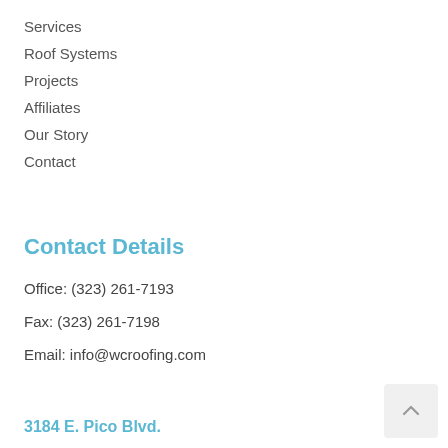Services
Roof Systems
Projects
Affiliates
Our Story
Contact
Contact Details
Office: (323) 261-7193
Fax: (323) 261-7198
Email: info@wcroofing.com
3184 E. Pico Blvd.